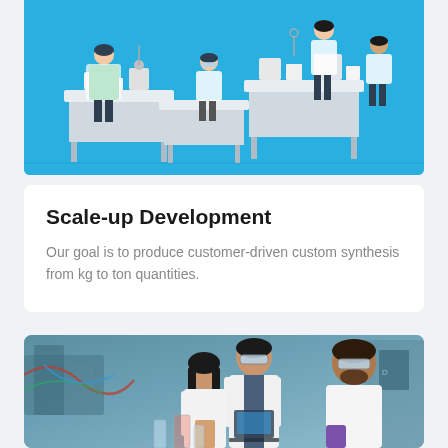[Figure (illustration): Isometric illustration of a laboratory with scientists in white coats working at lab benches with equipment, on a blue background]
Scale-up Development
Our goal is to produce customer-driven custom synthesis from kg to ton quantities.
[Figure (photo): Photograph of three scientists in white lab coats and safety goggles working in a chemical laboratory with equipment, tubes, and instruments]